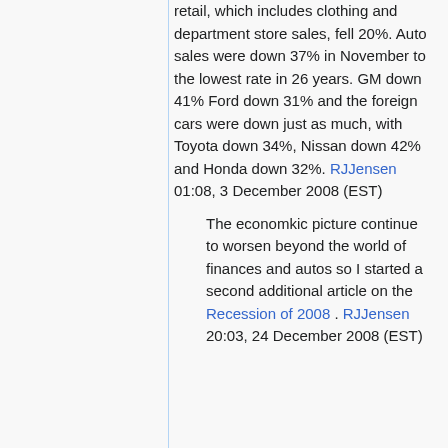retail, which includes clothing and department store sales, fell 20%. Auto sales were down 37% in November to the lowest rate in 26 years. GM down 41% Ford down 31% and the foreign cars were down just as much, with Toyota down 34%, Nissan down 42% and Honda down 32%. RJJensen 01:08, 3 December 2008 (EST)
The economkic picture continue to worsen beyond the world of finances and autos so I started a second additional article on the Recession of 2008 . RJJensen 20:03, 24 December 2008 (EST)